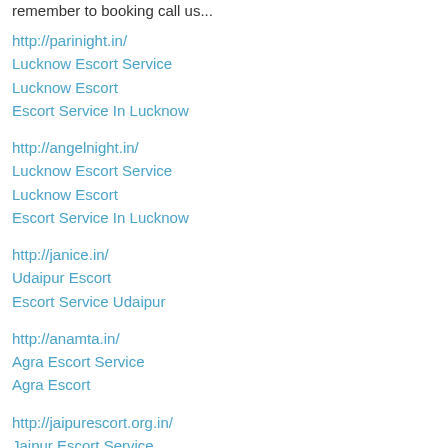remember to booking call us...
http://parinight.in/
Lucknow Escort Service
Lucknow Escort
Escort Service In Lucknow
http://angelnight.in/
Lucknow Escort Service
Lucknow Escort
Escort Service In Lucknow
http://janice.in/
Udaipur Escort
Escort Service Udaipur
http://anamta.in/
Agra Escort Service
Agra Escort
http://jaipurescort.org.in/
Jaipur Escort Service
Jaipur Escort